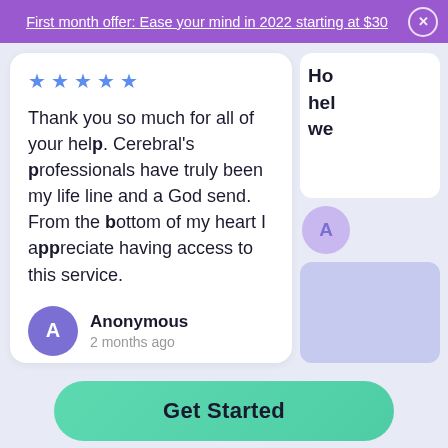First month offer: Ease your mind in 2022 starting at $30
Thank you so much for all of your help. Cerebral's professionals have truly been my life line and a God send. From the bottom of my heart I appreciate having access to this service.
Anonymous
2 months ago
Get Started